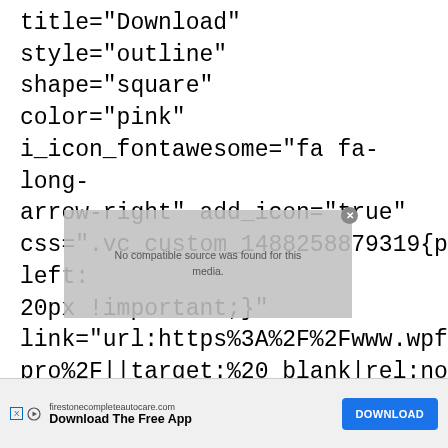title="Download" style="outline" shape="square" color="pink" i_icon_fontawesome="fa fa-long-arrow-right" add_icon="true" css=".vc_custom_1488258879319{padding-left: 20px !important;}" link="url:https%3A%2F%2Fwww.wpfreeware.co pro%2F||target:%20_blank|rel:nofollow"] [vc_separator css=".vc_custom_1480766784778{margin-top: 40px !important;}"][/vc_column][/vc_row] [vc_row full_width="stretch_row" css=".vc_custom_1480766242563{margin-top: 30px !important;}"][vc_column] [vc_custom_heading text="Monstroid2"
[Figure (screenshot): A grey overlay box with text 'No compatible source was found for this media.' and a close button (X) in the top right corner, partially overlapping the code text.]
[Figure (screenshot): An advertisement bar at the bottom: firestonecompleteautocare.com, 'Download The Free App', with a blue DOWNLOAD button, and X/play badge on the left.]